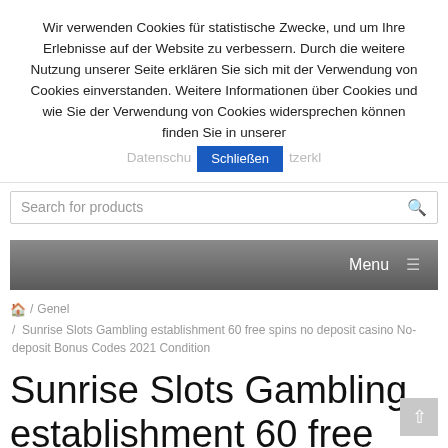Wir verwenden Cookies für statistische Zwecke, und um Ihre Erlebnisse auf der Website zu verbessern. Durch die weitere Nutzung unserer Seite erklären Sie sich mit der Verwendung von Cookies einverstanden. Weitere Informationen über Cookies und wie Sie der Verwendung von Cookies widersprechen können finden Sie in unserer
Search for products
Menu ≡
🏠 / Genel / Sunrise Slots Gambling establishment 60 free spins no deposit casino No-deposit Bonus Codes 2021 Condition
Sunrise Slots Gambling establishment 60 free